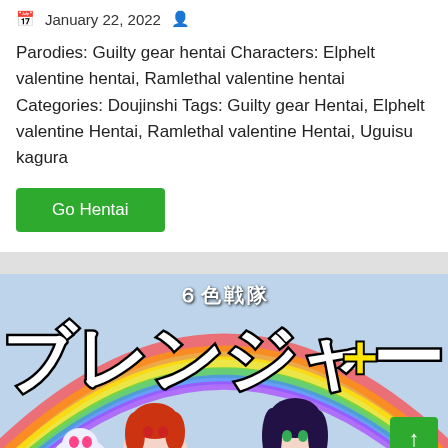January 22, 2022
Parodies: Guilty gear hentai Characters: Elphelt valentine hentai, Ramlethal valentine hentai Categories: Doujinshi Tags: Guilty gear Hentai, Elphelt valentine Hentai, Ramlethal valentine Hentai, Uguisu kagura
Go Hentai
[Figure (illustration): Manga/doujinshi cover image showing anime-style characters with Japanese text '6色戦隊' and large katakana title 'ブレンジャー' with a rainbow in the background. Two anime girls visible at the bottom.]